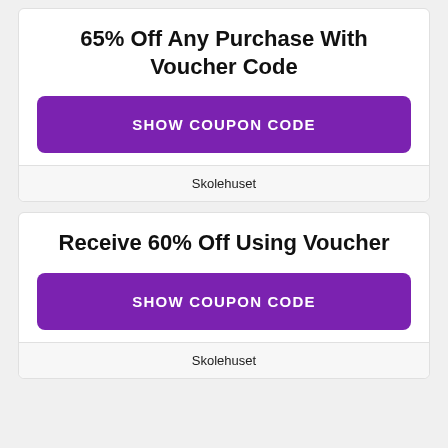65% Off Any Purchase With Voucher Code
SHOW COUPON CODE
Skolehuset
Receive 60% Off Using Voucher
SHOW COUPON CODE
Skolehuset